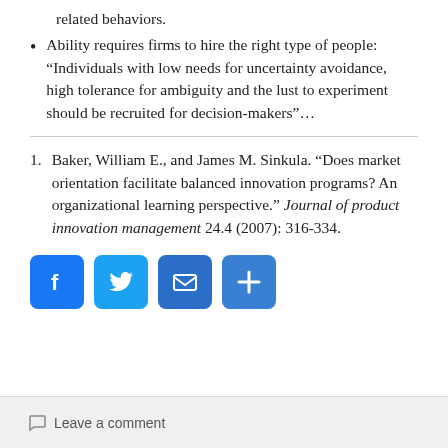related behaviors.
Ability requires firms to hire the right type of people: “Individuals with low needs for uncertainty avoidance, high tolerance for ambiguity and the lust to experiment should be recruited for decision-makers”…
Baker, William E., and James M. Sinkula. “Does market orientation facilitate balanced innovation programs? An organizational learning perspective.” Journal of product innovation management 24.4 (2007): 316-334.
[Figure (infographic): Four social sharing buttons: Facebook (blue F), Twitter (blue bird), Email (blue envelope), Share (blue plus)]
Leave a comment